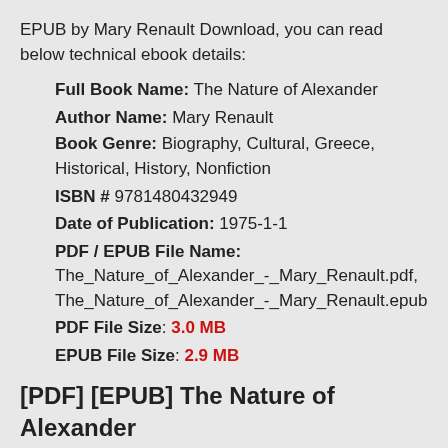EPUB by Mary Renault Download, you can read below technical ebook details:
Full Book Name: The Nature of Alexander
Author Name: Mary Renault
Book Genre: Biography, Cultural, Greece, Historical, History, Nonfiction
ISBN # 9781480432949
Date of Publication: 1975-1-1
PDF / EPUB File Name: The_Nature_of_Alexander_-_Mary_Renault.pdf, The_Nature_of_Alexander_-_Mary_Renault.epub
PDF File Size: 3.0 MB
EPUB File Size: 2.9 MB
[PDF] [EPUB] The Nature of Alexander